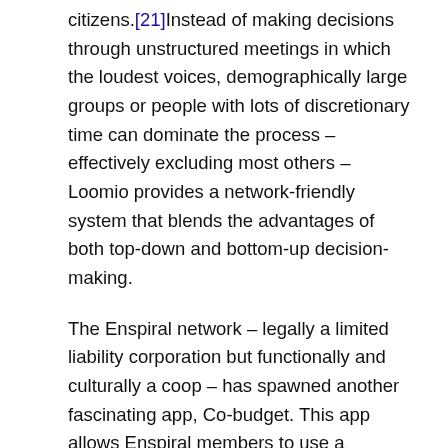citizens.[21]Instead of making decisions through unstructured meetings in which the loudest voices, demographically large groups or people with lots of discretionary time can dominate the process – effectively excluding most others – Loomio provides a network-friendly system that blends the advantages of both top-down and bottom-up decision-making.
The Enspiral network – legally a limited liability corporation but functionally and culturally a coop – has spawned another fascinating app, Co-budget. This app allows Enspiral members to use a transparent democratic process to allocate money in the group account in proportion to how much each person has